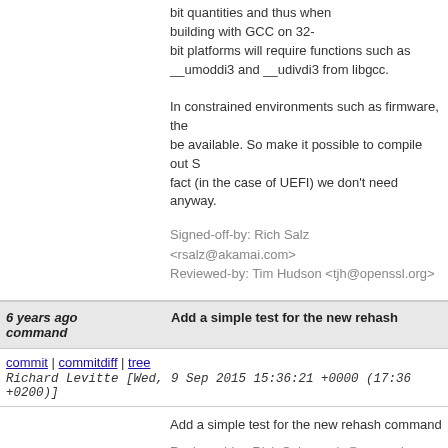This code does open-coded division on 64-bit quantities and thus when building with GCC on 32-bit platforms will require functions such as __umoddi3 and __udivdi3 from libgcc.
In constrained environments such as firmware, the be available. So make it possible to compile out S fact (in the case of UEFI) we don't need anyway.
Signed-off-by: Rich Salz <rsalz@akamai.com>
Reviewed-by: Tim Hudson <tjh@openssl.org>
6 years ago   Add a simple test for the new rehash command
commit | commitdiff | tree   Richard Levitte [Wed, 9 Sep 2015 15:36:21 +0000 (17:36 +0200)]
Add a simple test for the new rehash command

Reviewed-by: Rich Salz <rsalz@openssl.org>
6 years ago   Make sure the temporary error log resides in a well defined location
commit | commitdiff | tree   Richard Levitte [Wed, 9 Sep 2015 15:29:06 +0000 (17:29 +0200)]
Make sure the temporary error log resides in a we